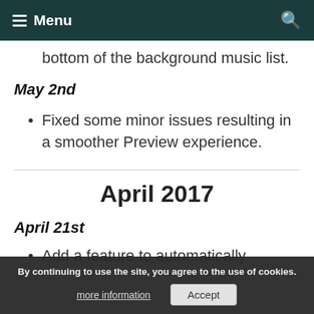Menu
bottom of the background music list.
May 2nd
Fixed some minor issues resulting in a smoother Preview experience.
April 2017
April 21st
Add a feature to automatically